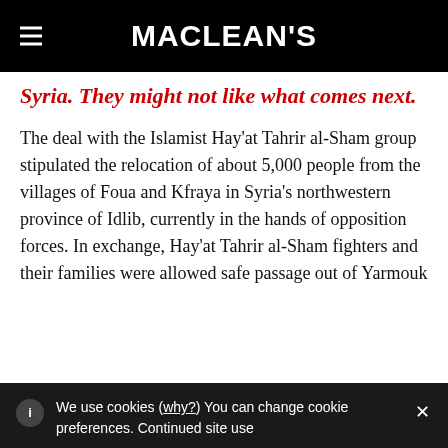MACLEAN'S
Syria. They might not like what comes next.
The deal with the Islamist Hay'at Tahrir al-Sham group stipulated the relocation of about 5,000 people from the villages of Foua and Kfraya in Syria's northwestern province of Idlib, currently in the hands of opposition forces. In exchange, Hay'at Tahrir al-Sham fighters and their families were allowed safe passage out of Yarmouk
We use cookies (why?) You can change cookie preferences. Continued site use